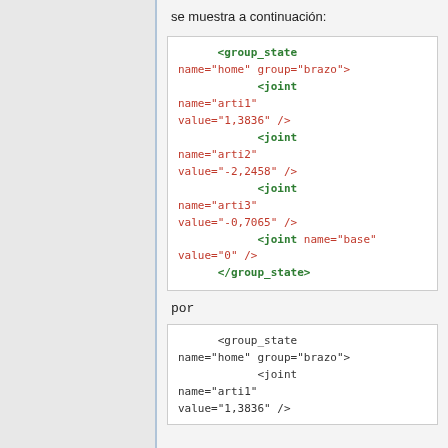se muestra a continuación:
<group_state name="home" group="brazo">
    <joint name="arti1" value="1,3836" />
    <joint name="arti2" value="-2,2458" />
    <joint name="arti3" value="-0,7065" />
    <joint name="base" value="0" />
</group_state>
por
<group_state name="home" group="brazo">
    <joint name="arti1" value="1,3836" />